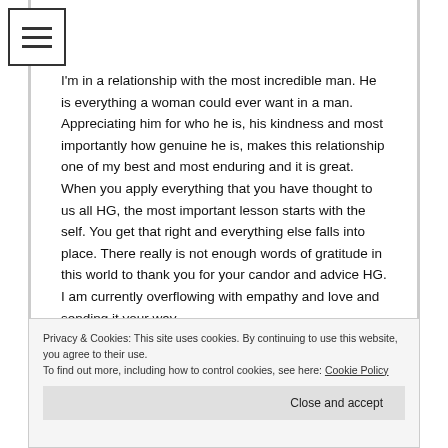HG,
I'm in a relationship with the most incredible man. He is everything a woman could ever want in a man. Appreciating him for who he is, his kindness and most importantly how genuine he is, makes this relationship one of my best and most enduring and it is great. When you apply everything that you have thought to us all HG, the most important lesson starts with the self. You get that right and everything else falls into place. There really is not enough words of gratitude in this world to thank you for your candor and advice HG. I am currently overflowing with empathy and love and sending it your way.
Best,
Privacy & Cookies: This site uses cookies. By continuing to use this website, you agree to their use.
To find out more, including how to control cookies, see here: Cookie Policy
Close and accept